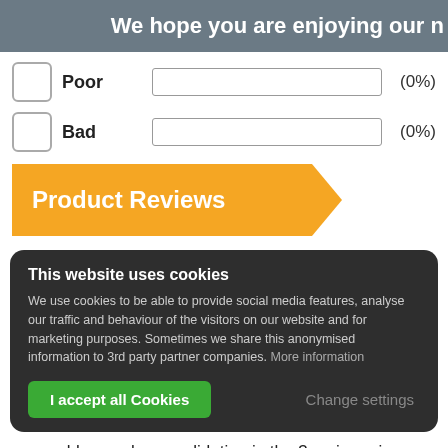We hope you are enjoying our n
Poor (0%)
Bad (0%)
Product Reviews
This website uses cookies
We use cookies to be able to provide social media features, analyse our traffic and behaviour of the visitors on our website and for marketing purposes. Sometimes we share this anonymised information to 3rd party partner companies. More information
I accept all Cookies
Change settings
enable supply consolidation in the 3 main regions